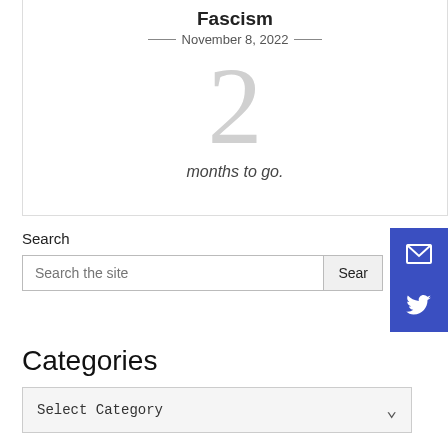Fascism
— November 8, 2022 —
2
months to go.
Search
Search the site
Categories
Select Category